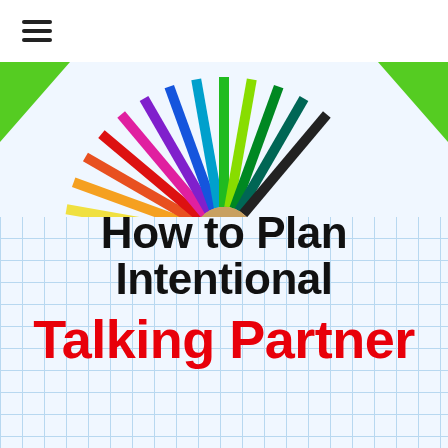≡
[Figure (illustration): Colorful fan of pencils arranged in an arc against a white background with bright green corner accents, set on a light blue grid-paper background.]
How to Plan Intentional Talking Partner